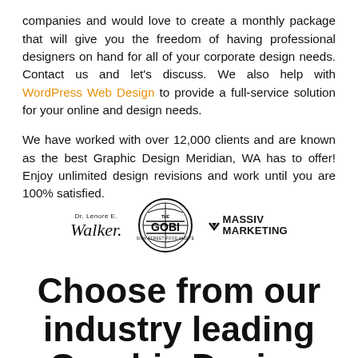companies and would love to create a monthly package that will give you the freedom of having professional designers on hand for all of your corporate design needs. Contact us and let's discuss. We also help with WordPress Web Design to provide a full-service solution for your online and design needs.
We have worked with over 12,000 clients and are known as the best Graphic Design Meridian, WA has to offer! Enjoy unlimited design revisions and work until you are 100% satisfied.
[Figure (logo): Three client logos displayed in a row: Dr. Lenore E. Walker (script signature logo), The Gobi (Asian street food and tea circular badge logo), and Massiv Marketing (bold text with chevron logo). A left arrow navigator is visible on the left.]
Choose from our industry leading Graphic Design Services Below